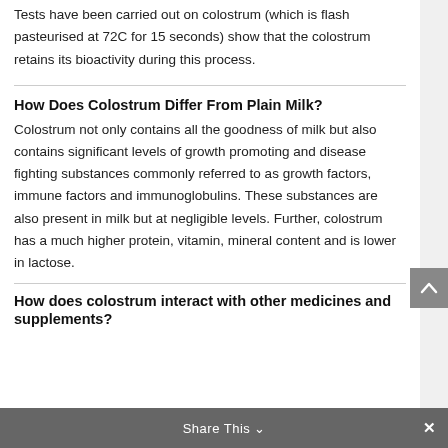Tests have been carried out on colostrum (which is flash pasteurised at 72C for 15 seconds) show that the colostrum retains its bioactivity during this process.
How Does Colostrum Differ From Plain Milk?
Colostrum not only contains all the goodness of milk but also contains significant levels of growth promoting and disease fighting substances commonly referred to as growth factors, immune factors and immunoglobulins. These substances are also present in milk but at negligible levels. Further, colostrum has a much higher protein, vitamin, mineral content and is lower in lactose.
How does colostrum interact with other medicines and supplements?